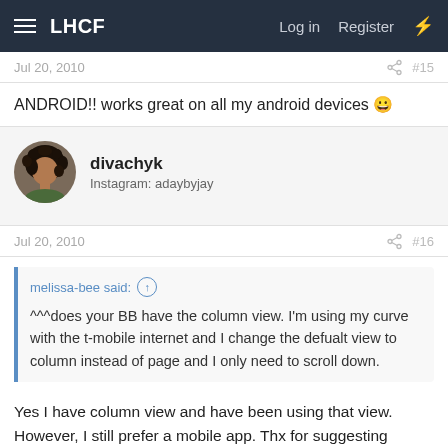LHCF | Log in | Register
Jul 20, 2010 #15
ANDROID!! works great on all my android devices 🙂
divachyk
Instagram: adaybyjay
Jul 20, 2010 #16
melissa-bee said: ↑

^^^does your BB have the column view. I'm using my curve with the t-mobile internet and I change the defualt view to column instead of page and I only need to scroll down.
Yes I have column view and have been using that view. However, I still prefer a mobile app. Thx for suggesting though.